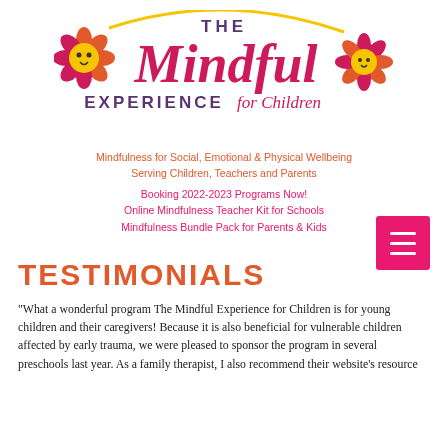[Figure (logo): The Mindful Experience for Children logo with two decorative flower icons and curved text]
Mindfulness for Social, Emotional & Physical Wellbeing
Serving Children, Teachers and Parents
Booking 2022-2023 Programs Now!
Online Mindfulness Teacher Kit for Schools
Mindfulness Bundle Pack for Parents & Kids
[Figure (other): Hamburger menu button (pink square with three white horizontal lines)]
TESTIMONIALS
"What a wonderful program The Mindful Experience for Children is for young children and their caregivers!  Because it is also beneficial for vulnerable children affected by early trauma, we were pleased to sponsor the program in several preschools last year.  As a family therapist, I also recommend their website's resource